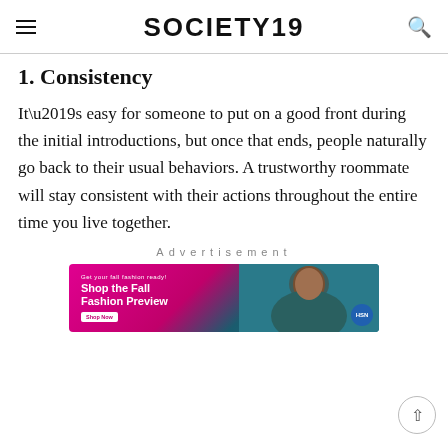SOCIETY19
1. Consistency
It’s easy for someone to put on a good front during the initial introductions, but once that ends, people naturally go back to their usual behaviors. A trustworthy roommate will stay consistent with their actions throughout the entire time you live together.
Advertisement
[Figure (photo): HSN advertisement banner showing a model and text: Shop the Fall Fashion Preview]